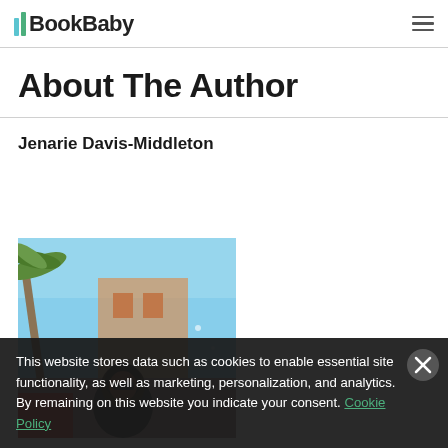BookBaby
About The Author
Jenarie Davis-Middleton
[Figure (photo): Outdoor photo of author Jenarie Davis-Middleton with palm trees and blue sky in the background]
This website stores data such as cookies to enable essential site functionality, as well as marketing, personalization, and analytics. By remaining on this website you indicate your consent. Cookie Policy